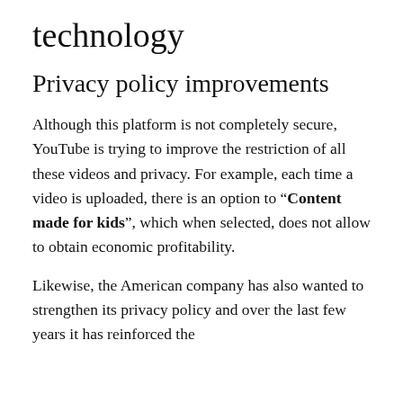technology
Privacy policy improvements
Although this platform is not completely secure, YouTube is trying to improve the restriction of all these videos and privacy. For example, each time a video is uploaded, there is an option to “Content made for kids”, which when selected, does not allow to obtain economic profitability.
Likewise, the American company has also wanted to strengthen its privacy policy and over the last few years it has reinforced the